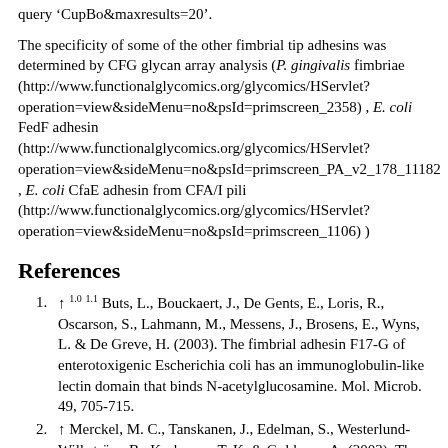query 'CupBo&maxresults=20'.
The specificity of some of the other fimbrial tip adhesins was determined by CFG glycan array analysis (P. gingivalis fimbriae (http://www.functionalglycomics.org/glycomics/HServlet?operation=view&sideMenu=no&psId=primscreen_2358) , E. coli FedF adhesin (http://www.functionalglycomics.org/glycomics/HServlet?operation=view&sideMenu=no&psId=primscreen_PA_v2_178_11182 , E. coli CfaE adhesin from CFA/I pili (http://www.functionalglycomics.org/glycomics/HServlet?operation=view&sideMenu=no&psId=primscreen_1106) )
References
↑ 1.0 1.1 Buts, L., Bouckaert, J., De Gents, E., Loris, R., Oscarson, S., Lahmann, M., Messens, J., Brosens, E., Wyns, L. & De Greve, H. (2003). The fimbrial adhesin F17-G of enterotoxigenic Escherichia coli has an immunoglobulin-like lectin domain that binds N-acetylglucosamine. Mol. Microb. 49, 705-715.
↑ Merckel, M. C., Tanskanen, J., Edelman, S., Westerlund-Wilkström, B., Korhonen, T. K. & Goldman, A. (2003). The structural basis of receptor-binding by Escherichia coli